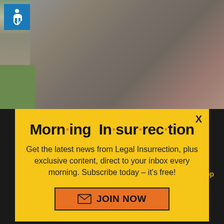[Figure (screenshot): Website screenshot showing a background photo of a damaged/weathered wall structure with green grass area. Accessibility icon in top-left corner.]
Morn·ing In·sur·rec·tion
Get the latest news from Legal Insurrection, plus exclusive content, direct to your inbox every morning. Subscribe today – it's free!
JOIN NOW
X
Back to top